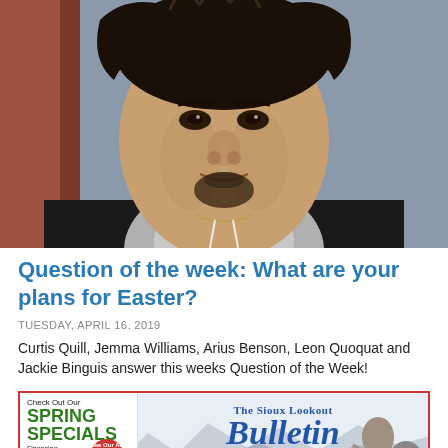[Figure (photo): Close-up photo of a man with dark hair, goatee, wearing a grey hoodie and black jacket, smiling slightly]
Question of the week: What are your plans for Easter?
TUESDAY, APRIL 16, 2019
Curtis Quill, Jemma Williams, Arius Benson, Leon Quoquat and Jackie Binguis answer this weeks Question of the Week!
[Figure (photo): Advertisement banner for The Sioux Lookout Bulletin with Spring Specials financing offer at 0%]